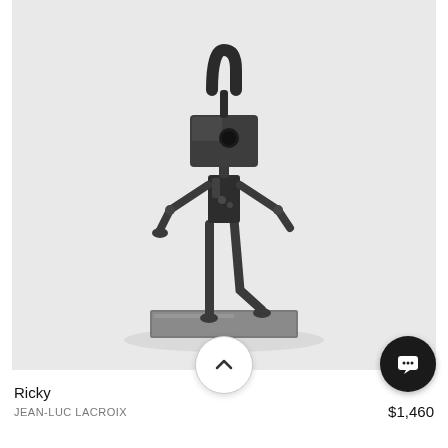[Figure (photo): A metal sculpture of a humanoid figure with a rectangular box-shaped head (with a circular eye/hole), thin rod-like arms and legs, mounted on a flat rectangular metal base. The sculpture is dark/gunmetal in color, photographed against a white background.]
Ricky
JEAN-LUC LACROIX
$1,460